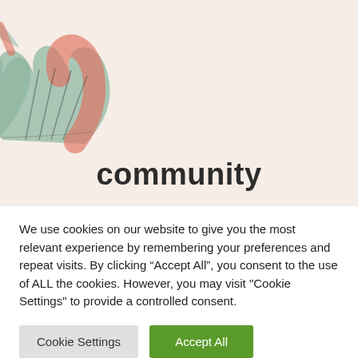[Figure (illustration): Hand-drawn illustration of two hands pressed together (prayer/namaste pose) with pink/coral and sage green brushstroke coloring on a light beige background]
community
We use cookies on our website to give you the most relevant experience by remembering your preferences and repeat visits. By clicking “Accept All”, you consent to the use of ALL the cookies. However, you may visit "Cookie Settings" to provide a controlled consent.
Cookie Settings
Accept All